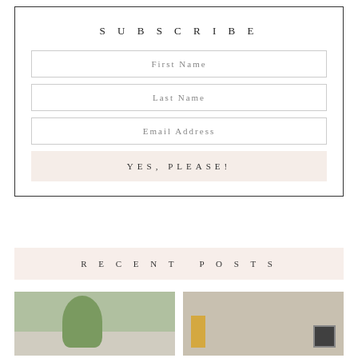SUBSCRIBE
First Name
Last Name
Email Address
YES, PLEASE!
RECENT POSTS
[Figure (photo): Two thumbnail images below Recent Posts section: left shows outdoor greenery/trees scene, right shows a shelf or bookcase with decorative objects]
[Figure (photo): Right thumbnail: shelf/bookcase with gold decorative objects and dark framed items]